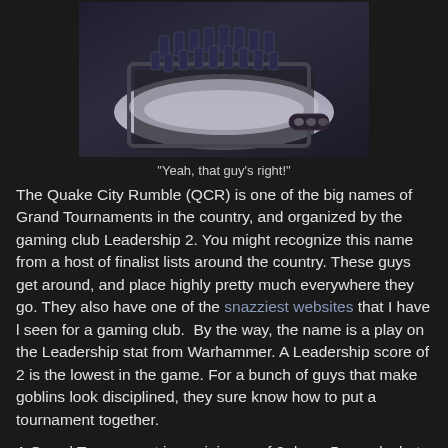[Figure (photo): Photo of painted miniature figurines (Warhammer-style cavalry units) on a display base with snow-effect basing material, viewed from above at an angle. Dark blue armored figures on a grey/white base with a dark frame.]
"Yeah, that guy's right!"
The Quake City Rumble (QCR) is one of the big names of Grand Tournaments in the country, and organized by the gaming club Leadership 2. You might recognize this name from a host of finalist lists around the country. These guys get around, and place highly pretty much everywhere they go. They also have one of the snazziest websites that I have l seen for a gaming club.  By the way, the name is a play on the Leadership stat from Warhammer. A Leadership score of 2 is the lowest in the game. For a bunch of guys that make goblins look disciplined, they sure know how to put a tournament together.
A Grand Tournament is a minimum of 2 days, 5 rounds, but